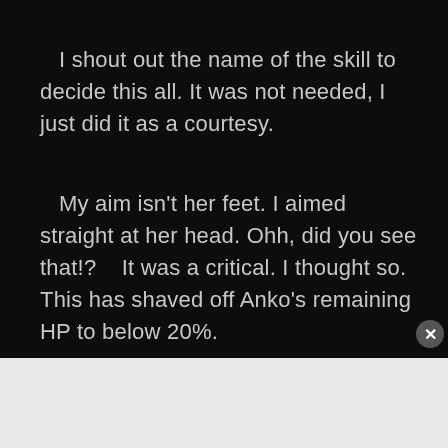I shout out the name of the skill to decide this all. It was not needed, I just did it as a courtesy.
My aim isn't her feet. I aimed straight at her head. Ohh, did you see that!?    It was a critical. I thought so. This has shaved off Anko's remaining HP to below 20%.
[Figure (other): Close button (X circle) overlay on the ad boundary]
Advertisements
[Figure (other): Bloomingdale's advertisement banner: 'bloomingdales — View Today's Top Deals!' with SHOP NOW > button and woman in hat photo]